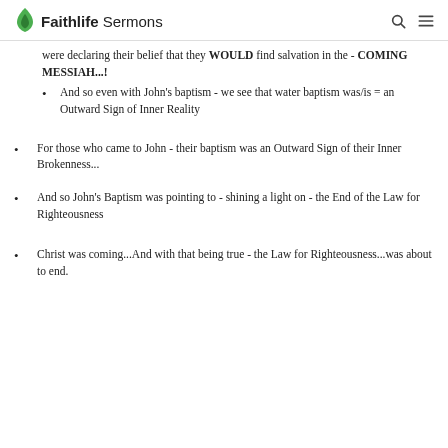Faithlife Sermons
were declaring their belief that they WOULD find salvation in the - COMING MESSIAH...!
And so even with John's baptism - we see that water baptism was/is = an Outward Sign of Inner Reality
For those who came to John - their baptism was an Outward Sign of their Inner Brokenness...
And so John's Baptism was pointing to - shining a light on - the End of the Law for Righteousness
Christ was coming...And with that being true - the Law for Righteousness...was about to end.